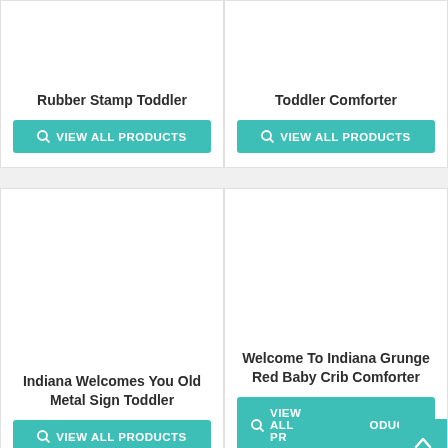Rubber Stamp Toddler
VIEW ALL PRODUCTS
Toddler Comforter
VIEW ALL PRODUCTS
Indiana Welcomes You Old Metal Sign Toddler
VIEW ALL PRODUCTS
Welcome To Indiana Grunge Red Baby Crib Comforter
VIEW ALL PRODUCTS